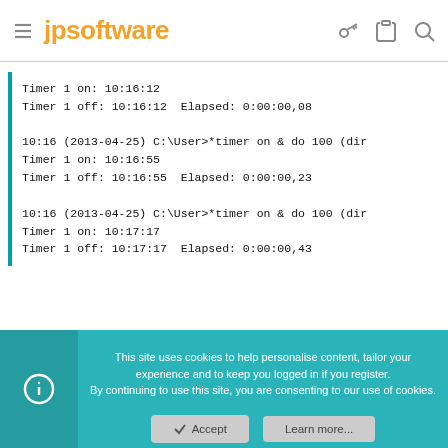jpsoftware
Timer 1 on: 10:16:12
Timer 1 off: 10:16:12  Elapsed: 0:00:00,08

10:16 (2013-04-25) C:\User>*timer on & do 100 (dir
Timer 1 on: 10:16:55
Timer 1 off: 10:16:55  Elapsed: 0:00:00,23

10:16 (2013-04-25) C:\User>*timer on & do 100 (dir
Timer 1 on: 10:17:17
Timer 1 off: 10:17:17  Elapsed: 0:00:00,43
This site uses cookies to help personalise content, tailor your experience and to keep you logged in if you register.
By continuing to use this site, you are consenting to our use of cookies.